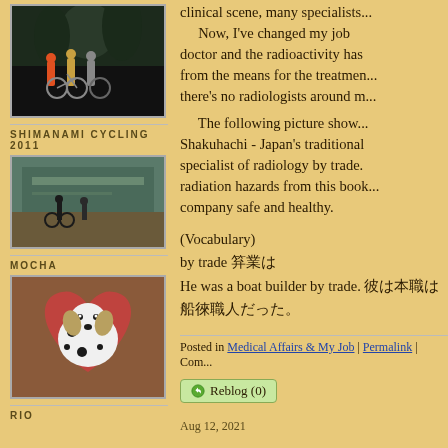[Figure (photo): Group of cyclists with bicycles at night, trees in background]
SHIMANAMI CYCLING 2011
[Figure (photo): Indoor cycling station or terminal with cyclists and bikes]
MOCHA
[Figure (photo): Dalmatian dog sitting on a heart-shaped mat]
RIO
clinical scene, many specialists...
      Now, I've changed my job doctor and the radioactivity has from the means for the treatment... there's no radiologists around m...
The following picture show... Shakuhachi - Japan's traditional specialist of radiology by trade. radiation hazards from this book... company safe and healthy.
(Vocabulary)
by trade 職業は
He was a boat builder by trade. 彼は本職は船大工職人だった。
Posted in Medical Affairs & My Job | Permalink | Com...
Reblog (0)
Aug 12, 2021